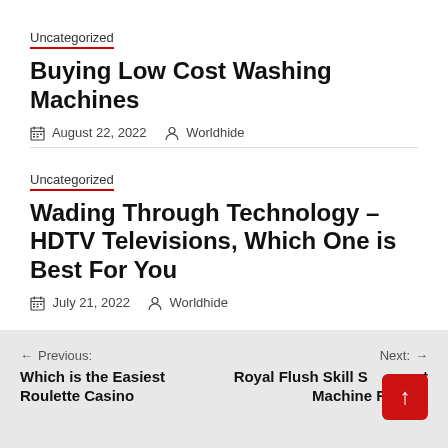Uncategorized
Buying Low Cost Washing Machines
August 22, 2022   Worldhide
Uncategorized
Wading Through Technology – HDTV Televisions, Which One is Best For You
July 21, 2022   Worldhide
Previous: Which is the Easiest Roulette Casino   Next: Royal Flush Skill Shot Machine Review